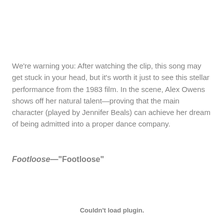We're warning you: After watching the clip, this song may get stuck in your head, but it's worth it just to see this stellar performance from the 1983 film. In the scene, Alex Owens shows off her natural talent—proving that the main character (played by Jennifer Beals) can achieve her dream of being admitted into a proper dance company.
Footloose—"Footloose"
Couldn't load plugin.